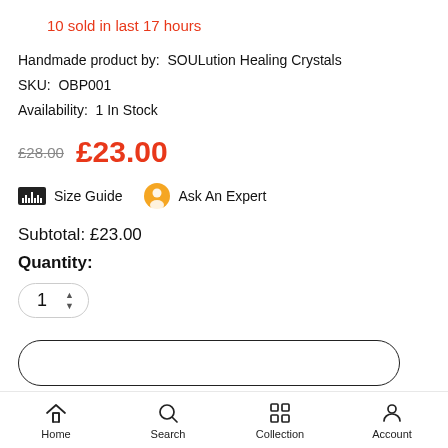10 sold in last 17 hours
Handmade product by:  SOULution Healing Crystals
SKU:  OBP001
Availability:  1 In Stock
£28.00  £23.00
Size Guide   Ask An Expert
Subtotal: £23.00
Quantity:
1
Home   Search   Collection   Account